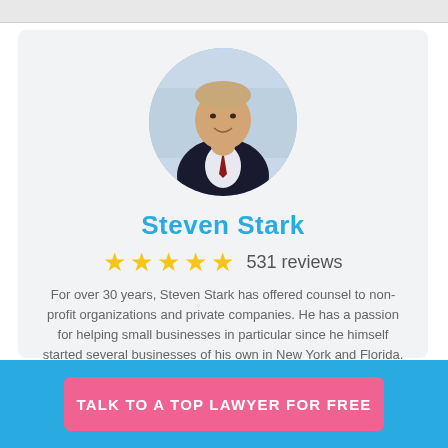[Figure (photo): Circular headshot photo of Steven Stark, a middle-aged man in a dark suit and tie, smiling, with a blurred office background.]
Steven Stark
★★★★★  531 reviews
For over 30 years, Steven Stark has offered counsel to non-profit organizations and private companies. He has a passion for helping small businesses in particular since he himself started several businesses of his own in New York and Florida. He understands the importance of small businesses having a reliable attorney to advise them about legal matters from their inception.
TALK TO A TOP LAWYER FOR FREE